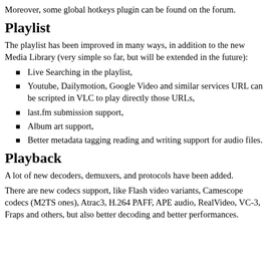Moreover, some global hotkeys plugin can be found on the forum.
Playlist
The playlist has been improved in many ways, in addition to the new Media Library (very simple so far, but will be extended in the future):
Live Searching in the playlist,
Youtube, Dailymotion, Google Video and similar services URL can be scripted in VLC to play directly those URLs,
last.fm submission support,
Album art support,
Better metadata tagging reading and writing support for audio files.
Playback
A lot of new decoders, demuxers, and protocols have been added.
There are new codecs support, like Flash video variants, Camescope codecs (M2TS ones), Atrac3, H.264 PAFF, APE audio, RealVideo, VC-3, Fraps and others, but also better decoding and better performances.